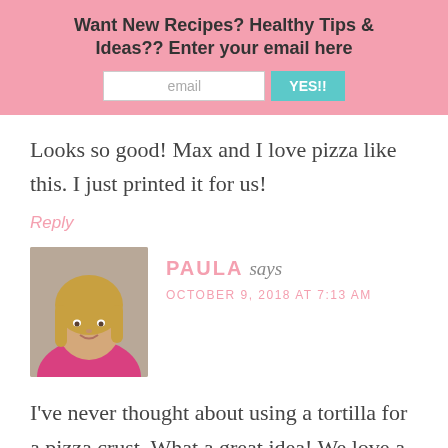[Figure (infographic): Pink banner with newsletter signup prompt: 'Want New Recipes? Healthy Tips & Ideas?? Enter your email here' with email input box and 'YES!!' button in teal]
Looks so good! Max and I love pizza like this. I just printed it for us!
Reply
[Figure (photo): Profile photo of PAULA - a woman with blonde hair smiling]
PAULA says
OCTOBER 9, 2018 AT 7:13 AM
I've never thought about using a tortilla for a pizza crust. What a great idea! We love a veggie pizza and I'm sure to try your